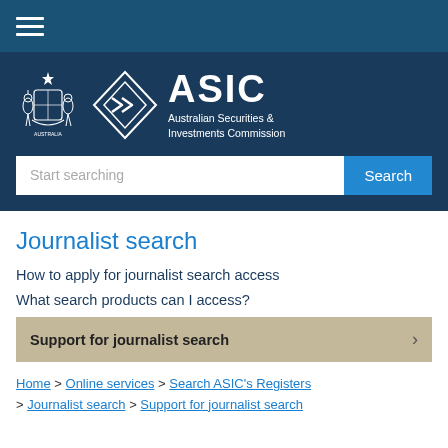ASIC - Australian Securities & Investments Commission
[Figure (logo): Australian Government Coat of Arms, ASIC diamond logo, and ASIC wordmark with full name 'Australian Securities & Investments Commission']
Journalist search
How to apply for journalist search access
What search products can I access?
Support for journalist search
Home > Online services > Search ASIC's Registers > Journalist search > Support for journalist search